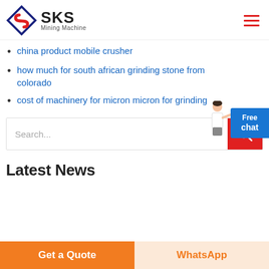SKS Mining Machine
china product mobile crusher
how much for south african grinding stone from colorado
cost of machinery for micron micron for grinding
[Figure (screenshot): Search bar with red search button icon]
Latest News
Get a Quote
WhatsApp